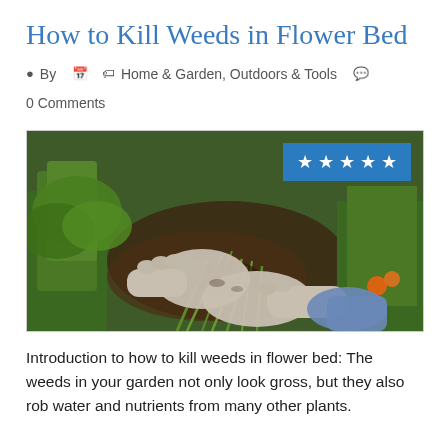How to Kill Weeds in Flower Bed
By   Home & Garden, Outdoors & Tools   0 Comments
[Figure (photo): Gloved hands pulling weeds from a garden flower bed, with green plants and soil visible. A five-star rating badge in blue is overlaid in the top-right corner.]
Introduction to how to kill weeds in flower bed: The weeds in your garden not only look gross, but they also rob water and nutrients from many other plants.